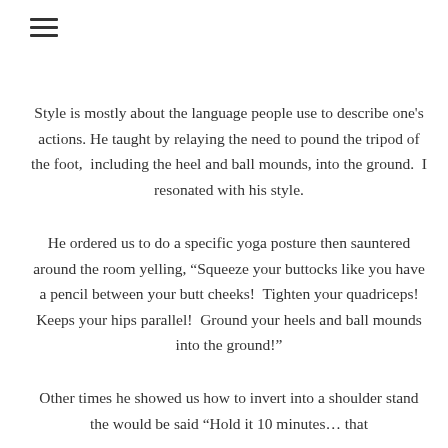≡
Style is mostly about the language people use to describe one's actions. He taught by relaying the need to pound the tripod of the foot,  including the heel and ball mounds, into the ground.  I resonated with his style.
He ordered us to do a specific yoga posture then sauntered around the room yelling, “Squeeze your buttocks like you have a pencil between your butt cheeks!  Tighten your quadriceps! Keeps your hips parallel!  Ground your heels and ball mounds into the ground!”
Other times he showed us how to invert into a shoulder stand the would be said “Hold it 10 minutes… that